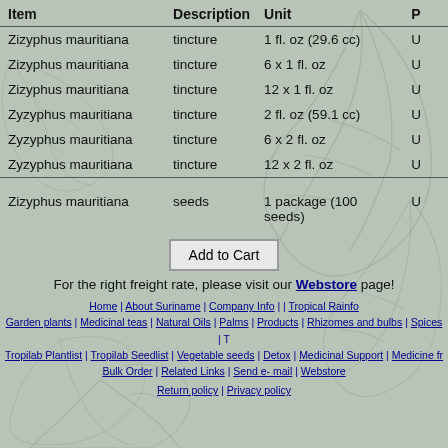| Item | Description | Unit | P |
| --- | --- | --- | --- |
| Zizyphus mauritiana | tincture | 1 fl. oz (29.6 cc) | U |
| Zizyphus mauritiana | tincture | 6 x 1 fl. oz | U |
| Zizyphus mauritiana | tincture | 12 x 1 fl. oz | U |
| Zyzyphus mauritiana | tincture | 2 fl. oz (59.1 cc) | U |
| Zyzyphus mauritiana | tincture | 6 x 2 fl. oz | U |
| Zyzyphus mauritiana | tincture | 12 x 2 fl. oz | U |
| Zizyphus mauritiana | seeds | 1 package (100 seeds) | U |
For the right freight rate, please visit our Webstore page!
Home | About Suriname | Company Info | | Tropical Rainforest | Garden plants | Medicinal teas | Natural Oils | Palms | Products | Rhizomes and bulbs | Spices | T... | Tropilab Plantlist | Tropilab Seedlist | Vegetable seeds | Detox | Medicinal Support | Medicine fr... | Bulk Order | Related Links | Send e- mail | Webstore | Return policy | Privacy policy